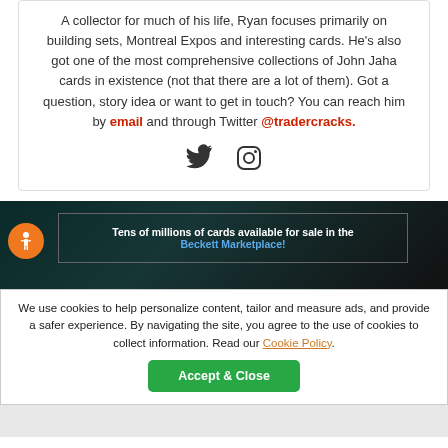A collector for much of his life, Ryan focuses primarily on building sets, Montreal Expos and interesting cards. He's also got one of the most comprehensive collections of John Jaha cards in existence (not that there are a lot of them). Got a question, story idea or want to get in touch? You can reach him by email and through Twitter @tradercracks.
[Figure (illustration): Twitter bird icon and Instagram camera icon as social media links]
[Figure (infographic): Dark banner with accessibility icon and text: Tens of millions of cards available for sale in the Beckett Marketplace!]
We use cookies to help personalize content, tailor and measure ads, and provide a safer experience. By navigating the site, you agree to the use of cookies to collect information. Read our Cookie Policy.
Accept & Close